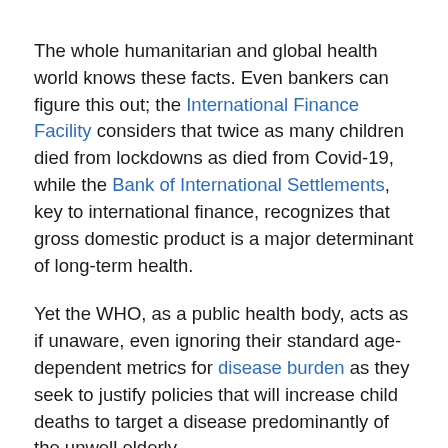The whole humanitarian and global health world knows these facts. Even bankers can figure this out; the International Finance Facility considers that twice as many children died from lockdowns as died from Covid-19, while the Bank of International Settlements, key to international finance, recognizes that gross domestic product is a major determinant of long-term health.
Yet the WHO, as a public health body, acts as if unaware, even ignoring their standard age-dependent metrics for disease burden as they seek to justify policies that will increase child deaths to target a disease predominantly of the unwell elderly.
The WHO and other health organizations predicted lockdown harms, and have documented them since early